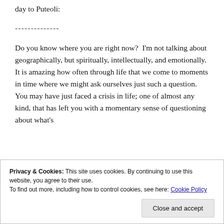day to Puteoli:
--------------
Do you know where you are right now?  I'm not talking about geographically, but spiritually, intellectually, and emotionally.  It is amazing how often through life that we come to moments in time where we might ask ourselves just such a question.  You may have just faced a crisis in life; one of almost any kind, that has left you with a momentary sense of questioning about what's
Privacy & Cookies: This site uses cookies. By continuing to use this website, you agree to their use.
To find out more, including how to control cookies, see here: Cookie Policy
Close and accept
you really are so overshadowed by difficulties